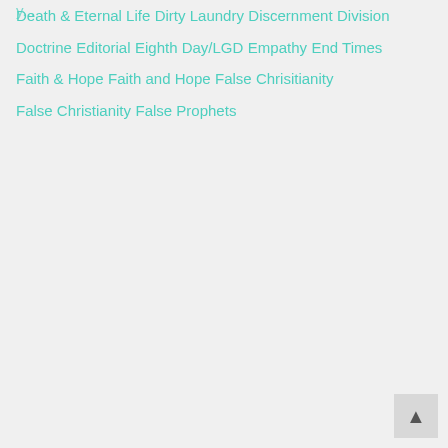Death & Eternal Life
Dirty Laundry
Discernment
Division
Doctrine
Editorial
Eighth Day/LGD
Empathy
End Times
Faith & Hope
Faith and Hope
False Chrisitianity
False Christianity
False Prophets